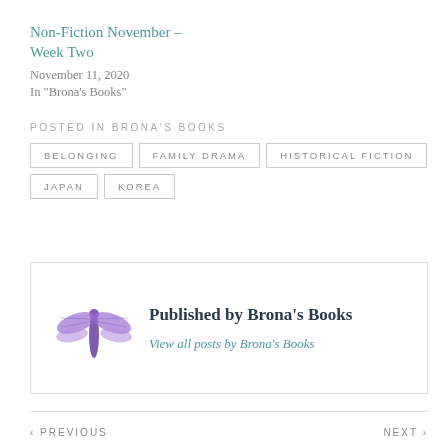Non-Fiction November – Week Two
November 11, 2020
In "Brona's Books"
POSTED IN BRONA'S BOOKS
BELONGING
FAMILY DRAMA
HISTORICAL FICTION
JAPAN
KOREA
[Figure (illustration): Purple dragonfly logo/illustration for Brona's Books]
Published by Brona's Books
View all posts by Brona's Books
‹ PREVIOUS   NEXT ›